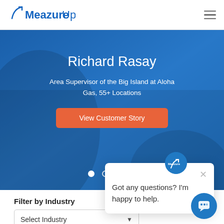[Figure (logo): MeazureUp logo with blue text and arrow icon]
[Figure (photo): Blue hero banner with person in background, testimonial for Richard Rasay]
Richard Rasay
Area Supervisor of the Big Island at Aloha Gas, 55+ Locations
View Customer Story
[Figure (screenshot): Chat popup with MeazureUp logo icon and message: Got any questions? I'm happy to help.]
Filter by Industry
Select Industry